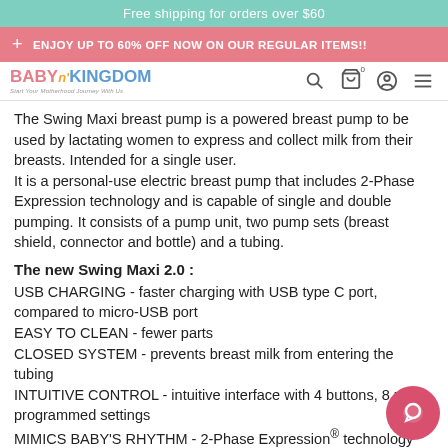Free shipping for orders over $60
+ ENJOY UP TO 60% OFF NOW ON OUR REGULAR ITEMS!!
[Figure (logo): Baby n Kingdom logo with tagline 'Start Your Motherhood Journey With Us' and navigation icons (search, cart, account, menu)]
The Swing Maxi breast pump is a powered breast pump to be used by lactating women to express and collect milk from their breasts. Intended for a single user.
It is a personal-use electric breast pump that includes 2-Phase Expression technology and is capable of single and double pumping. It consists of a pump unit, two pump sets (breast shield, connector and bottle) and a tubing.
The new Swing Maxi 2.0 :
USB CHARGING - faster charging with USB type C port, compared to micro-USB port
EASY TO CLEAN - fewer parts
CLOSED SYSTEM - prevents breast milk from entering the tubing
INTUITIVE CONTROL - intuitive interface with 4 buttons, 8 pre-programmed settings
MIMICS BABY'S RHYTHM - 2-Phase Expression® technology that mimics your baby's sucking patterns
NOTICEABLY QUIETER - vs previous generation, less than 45 dB at Maximum Expression Level